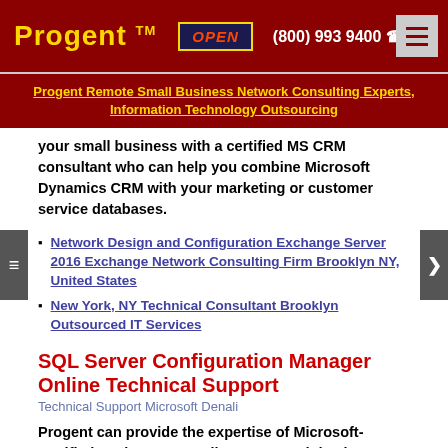Progent™  OPEN  (800) 993 9400
Progent Remote Small Business Network Consulting Experts, Information Technology Outsourcing
your small business with a certified MS CRM consultant who can help you combine Microsoft Dynamics CRM with your marketing or customer service databases.
Network Design and Configuration Exchange Server 2016 Exchange Network Consulting Firm Brooklyn NY, United States
New York, NY Technical Consultant Brooklyn Outsourced IT Services
SQL Server Configuration Manager Online Technical Support
Technical Support Microsoft Denali
Progent can provide the expertise of Microsoft-certified engineers as well as seasoned database application developers, database administrators, project management